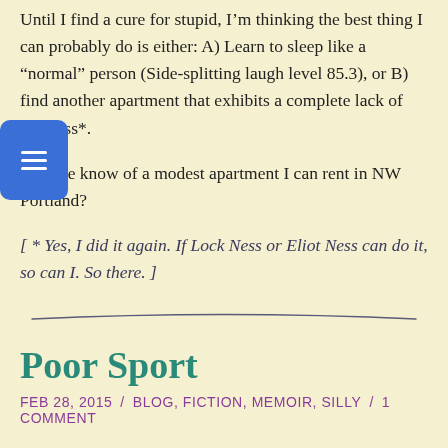Until I find a cure for stupid, I'm thinking the best thing I can probably do is either: A) Learn to sleep like a “normal” person (Side-splitting laugh level 85.3), or B) find another apartment that exhibits a complete lack of bar-ness*.
Anyone know of a modest apartment I can rent in NW Portland?
[ * Yes, I did it again. If Lock Ness or Eliot Ness can do it, so can I. So there. ]
Poor Sport
FEB 28, 2015  /  BLOG, FICTION, MEMOIR, SILLY  /  1 COMMENT
It has been brought to my attention that I introduced the idea of writing memoir in my blog . . .  without actually writing any. Uhm . . . Busted!!